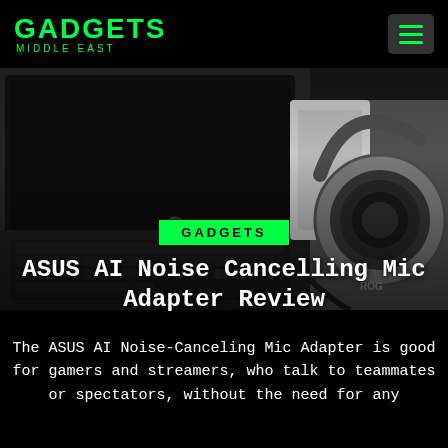GADGETS MIDDLE EAST
[Figure (photo): Hero image showing an ASUS laptop with keyboard visible on left side and ROG headphones on the right side, on a gray surface with cables.]
GADGETS
ASUS AI Noise Cancelling Mic Adapter Review
The ASUS AI Noise-Canceling Mic Adapter is good for gamers and streamers, who talk to teammates or spectators, without the need for any